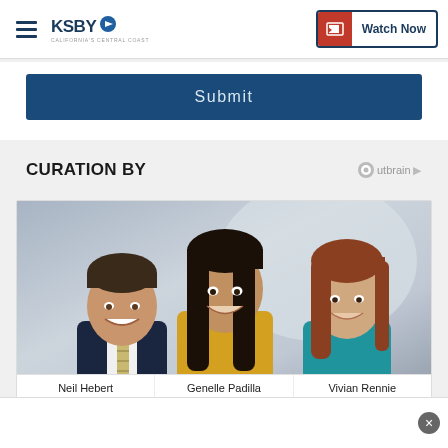KSBY California's Central Coast | Watch Now
Submit
CURATION BY
[Figure (photo): Three news anchors: Neil Hebert (left, man in suit with striped tie), Genelle Padilla (center, woman in yellow top with long dark hair), Vivian Rennie (right, woman with auburn hair). Professional studio photo against grey background.]
Neil Hebert   Genelle Padilla   Vivian Rennie